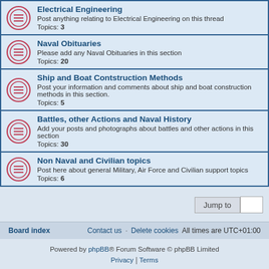Electrical Engineering – Post anything relating to Electrical Engineering on this thread. Topics: 3
Naval Obituaries – Please add any Naval Obituaries in this section. Topics: 20
Ship and Boat Contstruction Methods – Post your information and comments about ship and boat construction methods in this section. Topics: 5
Battles, other Actions and Naval History – Add your posts and photographs about battles and other actions in this section. Topics: 30
Non Naval and Civilian topics – Post here about general Military, Air Force and Civilian support topics. Topics: 6
Jump to
Board index   Contact us   Delete cookies   All times are UTC+01:00
Powered by phpBB® Forum Software © phpBB Limited
Privacy | Terms